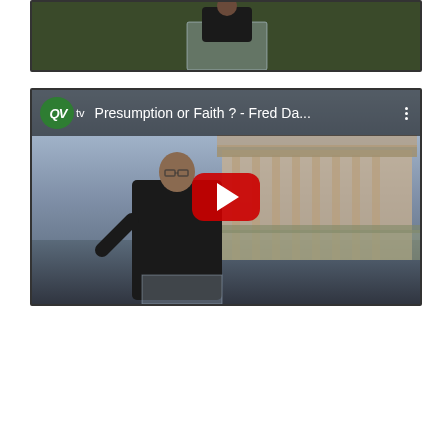[Figure (screenshot): Video thumbnail showing a person at a podium/lectern with green foliage background, dark border frame]
[Figure (screenshot): YouTube video thumbnail for 'Presumption or Faith ? - Fred Da...' on QVtv channel. Shows a man in a black suit with glasses speaking at a glass podium, with a background showing an architectural model of a temple/ancient building. A large red YouTube play button is centered on the thumbnail. The QVtv logo (green circle with QV letters) and video title appear in a dark bar at the top.]